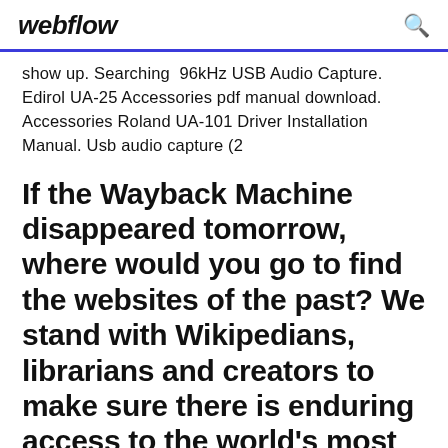webflow
show up. Searching  96kHz USB Audio Capture. Edirol UA-25 Accessories pdf manual download. Accessories Roland UA-101 Driver Installation Manual. Usb audio capture (2
If the Wayback Machine disappeared tomorrow, where would you go to find the websites of the past? We stand with Wikipedians, librarians and creators to make sure there is enduring access to the world's most trustworthy knowledge.